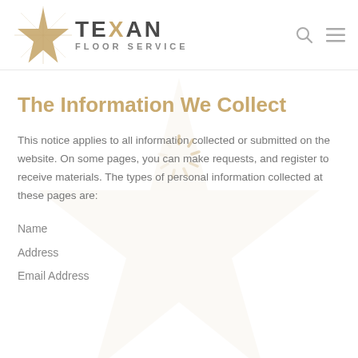TEXAN FLOOR SERVICE
The Information We Collect
[Figure (other): Loading spinner icon centered on page]
This notice applies to all information collected or submitted on the website. On some pages, you can make requests, and register to receive materials. The types of personal information collected at these pages are:
Name
Address
Email Address